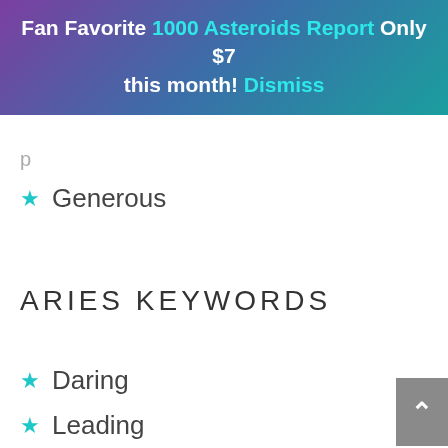Fan Favorite 1000 Asteroids Report Only $7 this month! Dismiss
★ Generous
ARIES KEYWORDS
★ Daring
★ Leading